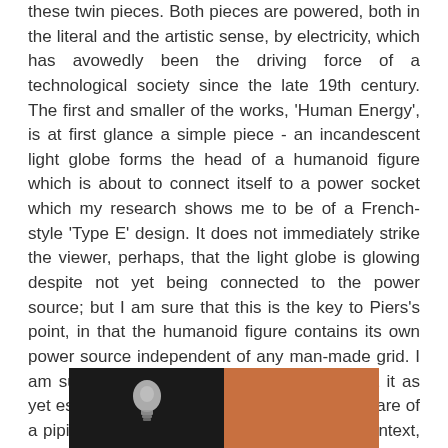these twin pieces. Both pieces are powered, both in the literal and the artistic sense, by electricity, which has avowedly been the driving force of a technological society since the late 19th century. The first and smaller of the works, 'Human Energy', is at first glance a simple piece - an incandescent light globe forms the head of a humanoid figure which is about to connect itself to a power socket which my research shows me to be of a French-style 'Type E' design. It does not immediately strike the viewer, perhaps, that the light globe is glowing despite not yet being connected to the power source; but I am sure that this is the key to Piers's point, in that the humanoid figure contains its own power source independent of any man-made grid. I am sure there is something deeper here, but it as yet escapes me; the components of the limbs are of a piping which I know I have seen in some context, but that, too, will need to be teased out by another commentator. I move on dissatisfied with my own penetration of this work, wondering if its twin piece will yield further clues.
[Figure (photo): A partial photograph split into two halves: the left half shows a dark/black background with a light bulb or spherical glowing object, and the right half shows an orange/terracotta colored background, suggesting an art installation or sculpture.]